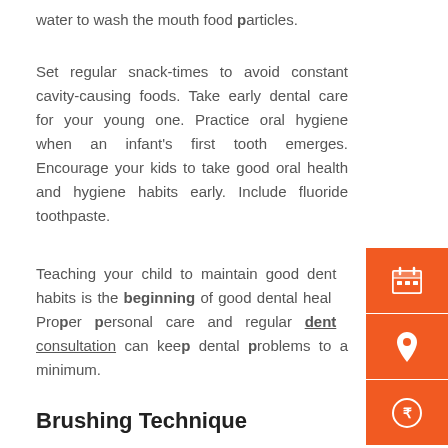water to wash the mouth food particles.
Set regular snack-times to avoid constant cavity-causing foods. Take early dental care for your young one. Practice oral hygiene when an infant's first tooth emerges. Encourage your kids to take good oral health and hygiene habits early. Include fluoride toothpaste.
Teaching your child to maintain good dental habits is the beginning of good dental health. Proper personal care and regular dental consultation can keep dental problems to a minimum.
[Figure (infographic): Three orange square icon buttons on the right side: a calendar icon, a location pin icon, and a rupee coin icon.]
Brushing Technique